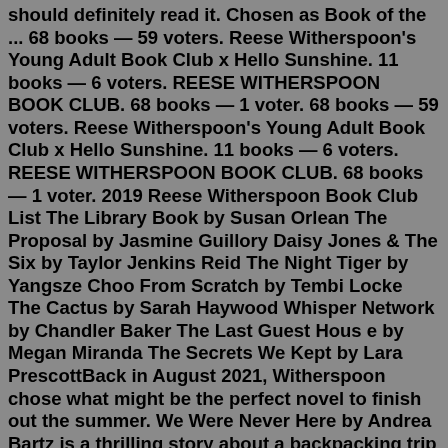should definitely read it. Chosen as Book of the ... 68 books — 59 voters. Reese Witherspoon's Young Adult Book Club x Hello Sunshine. 11 books — 6 voters. REESE WITHERSPOON BOOK CLUB. 68 books — 1 voter. 68 books — 59 voters. Reese Witherspoon's Young Adult Book Club x Hello Sunshine. 11 books — 6 voters. REESE WITHERSPOON BOOK CLUB. 68 books — 1 voter. 2019 Reese Witherspoon Book Club List The Library Book by Susan Orlean The Proposal by Jasmine Guillory Daisy Jones & The Six by Taylor Jenkins Reid The Night Tiger by Yangsze Choo From Scratch by Tembi Locke The Cactus by Sarah Haywood Whisper Network by Chandler Baker The Last Guest Hous e by Megan Miranda The Secrets We Kept by Lara PrescottBack in August 2021, Witherspoon chose what might be the perfect novel to finish out the summer. We Were Never Here by Andrea Bartz is a thrilling story about a backpacking trip gone deadly wrong....Feb 24, 2022 · Where the Crawdads Sing is a 2018 novel by American author Delia Owens. This book tells the story of Kya Clarke,